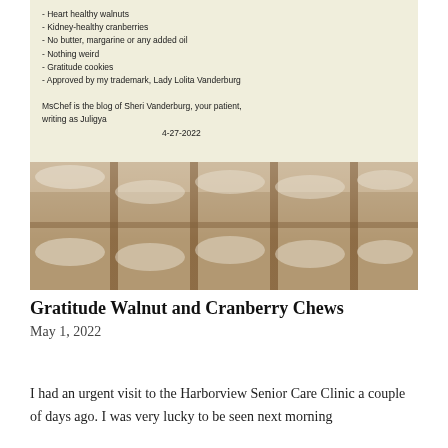[Figure (photo): Photo of a box of homemade walnut and cranberry chews (bar cookies dusted with powdered sugar and separated by wooden sticks), with a handwritten note on the lid listing: Heart healthy walnuts, Kidney-healthy cranberries, No butter, margarine or any added oil, Nothing weird, Gratitude cookies, Approved by my trademark, Lady Lolita Vanderburg. Note also states: MsChef is the blog of Sheri Vanderburg, your patient, writing as Juligya. Dated 4-27-2022.]
Gratitude Walnut and Cranberry Chews
May 1, 2022
I had an urgent visit to the Harborview Senior Care Clinic a couple of days ago. I was very lucky to be seen next morning